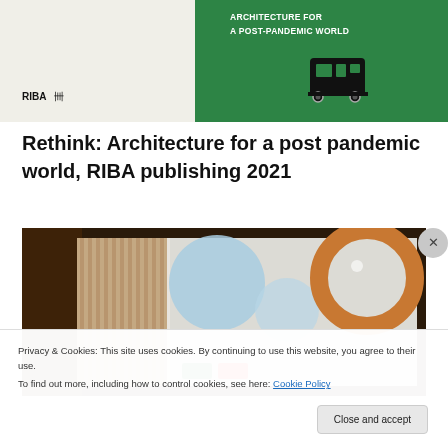[Figure (photo): Photo of book cover 'Rethink: Architecture for a Post-Pandemic World' published by RIBA. Green cover visible on right with white geometric elements and bus icon. Left panel is light/white with RIBA logo.]
Rethink: Architecture for a post pandemic world, RIBA publishing 2021
[Figure (photo): Photo of an open book inside a dark box, showing an interior spread with large circular design elements in blue and orange/copper tones, with vertical striped pattern.]
Privacy & Cookies: This site uses cookies. By continuing to use this website, you agree to their use.
To find out more, including how to control cookies, see here: Cookie Policy
Close and accept